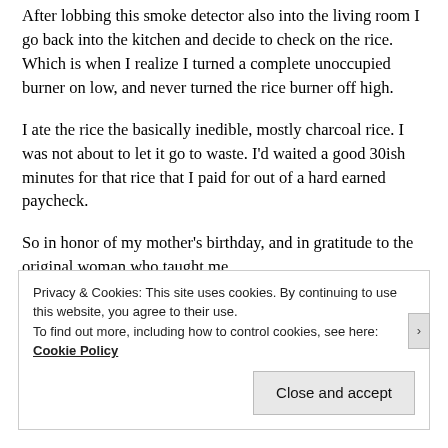After lobbing this smoke detector also into the living room I go back into the kitchen and decide to check on the rice. Which is when I realize I turned a complete unoccupied burner on low, and never turned the rice burner off high.
I ate the rice the basically inedible, mostly charcoal rice. I was not about to let it go to waste. I'd waited a good 30ish minutes for that rice that I paid for out of a hard earned paycheck.
So in honor of my mother's birthday, and in gratitude to the original woman who taught me
Privacy & Cookies: This site uses cookies. By continuing to use this website, you agree to their use.
To find out more, including how to control cookies, see here: Cookie Policy
Close and accept